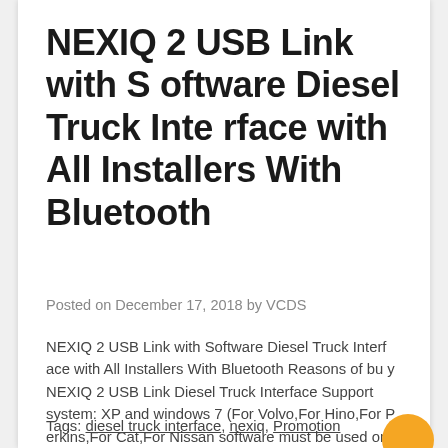NEXIQ 2 USB Link with Software Diesel Truck Interface with All Installers With Bluetooth
Posted on December 17, 2018 by VCDS
NEXIQ 2 USB Link with Software Diesel Truck Interface with All Installers With Bluetooth Reasons of buy NEXIQ 2 USB Link Diesel Truck Interface Support system: XP and windows 7 (For Volvo,For Hino,For Perkins,For Cat,For Nissan software must be used on xp system, orther software can be used on win 7 32bit) It Works As Great...
Tags: diesel truck interface, nexiq, Promotion